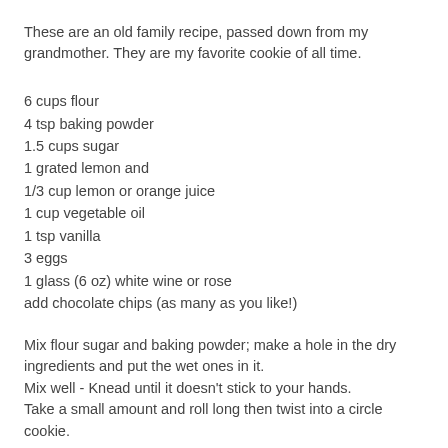These are an old family recipe, passed down from my grandmother. They are my favorite cookie of all time.
6 cups flour
4 tsp baking powder
1.5 cups sugar
1 grated lemon and
1/3 cup lemon or orange juice
1 cup vegetable oil
1 tsp vanilla
3 eggs
1 glass (6 oz) white wine or rose
add chocolate chips (as many as you like!)
Mix flour sugar and baking powder; make a hole in the dry ingredients and put the wet ones in it.
Mix well - Knead until it doesn't stick to your hands.
Take a small amount and roll long then twist into a circle cookie.